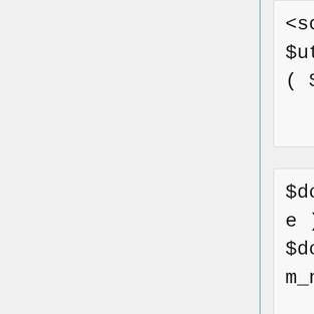<script> etc.
$utf8_string = $xml->text_content( $dom_node ); # textual content?
$dom_node = $xml->clone( $dom_node ); # deep
$dom_node = $xml->clone_node( $dom_node ); # shallow
$dom_node = $xml->create_element( $name, %attr );
$dom_node = $xml->create_text_node( $value );
$dom_node = $xml->create_comment_node( $value );
$dom_node = $xml->create document fragment;